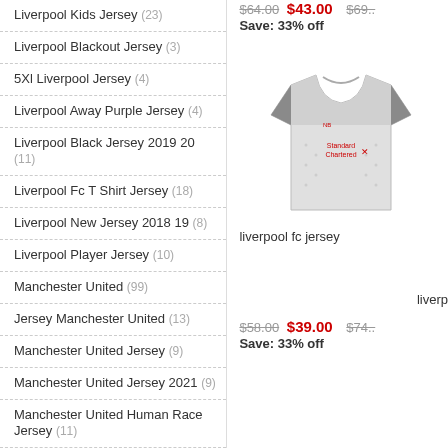Liverpool Kids Jersey (23)
Liverpool Blackout Jersey (3)
5Xl Liverpool Jersey (4)
Liverpool Away Purple Jersey (4)
Liverpool Black Jersey 2019 20 (11)
Liverpool Fc T Shirt Jersey (18)
Liverpool New Jersey 2018 19 (8)
Liverpool Player Jersey (10)
Manchester United (99)
Jersey Manchester United (13)
Manchester United Jersey (9)
Manchester United Jersey 2021 (9)
Manchester United Human Race Jersey (11)
Baby Soccer Jersey Manchester United (10)
$64.00  $43.00  Save: 33% off
[Figure (photo): Liverpool FC grey away jersey with Standard Chartered sponsor]
liverpool fc jersey
liverp
$58.00  $39.00  Save: 33% off